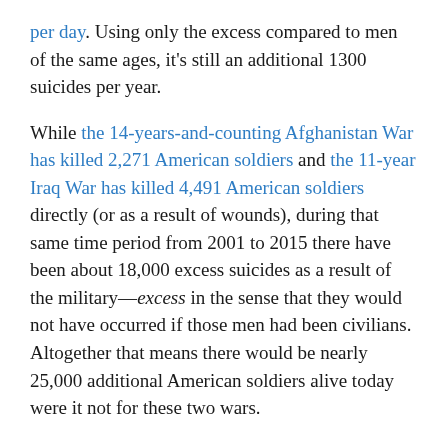per day. Using only the excess compared to men of the same ages, it's still an additional 1300 suicides per year.
While the 14-years-and-counting Afghanistan War has killed 2,271 American soldiers and the 11-year Iraq War has killed 4,491 American soldiers directly (or as a result of wounds), during that same time period from 2001 to 2015 there have been about 18,000 excess suicides as a result of the military—excess in the sense that they would not have occurred if those men had been civilians. Altogether that means there would be nearly 25,000 additional American soldiers alive today were it not for these two wars.